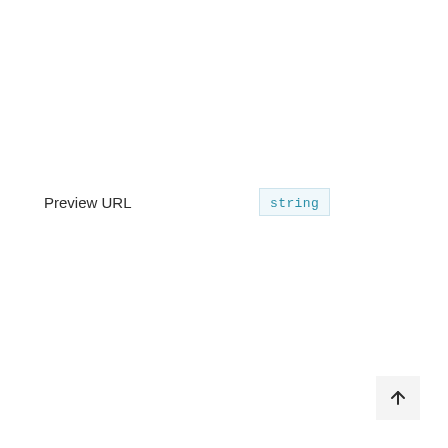Preview URL    string
[Figure (other): Back to top arrow button in bottom-right corner]